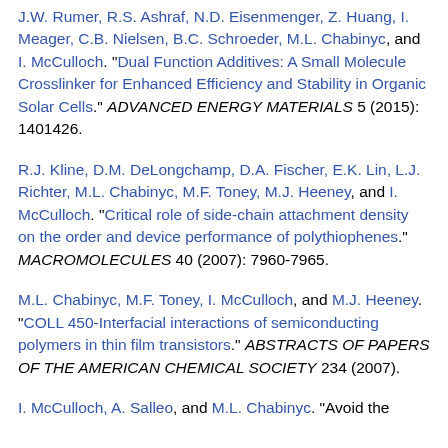J.W. Rumer, R.S. Ashraf, N.D. Eisenmenger, Z. Huang, I. Meager, C.B. Nielsen, B.C. Schroeder, M.L. Chabinyc, and I. McCulloch. "Dual Function Additives: A Small Molecule Crosslinker for Enhanced Efficiency and Stability in Organic Solar Cells." ADVANCED ENERGY MATERIALS 5 (2015): 1401426.
R.J. Kline, D.M. DeLongchamp, D.A. Fischer, E.K. Lin, L.J. Richter, M.L. Chabinyc, M.F. Toney, M.J. Heeney, and I. McCulloch. "Critical role of side-chain attachment density on the order and device performance of polythiophenes." MACROMOLECULES 40 (2007): 7960-7965.
M.L. Chabinyc, M.F. Toney, I. McCulloch, and M.J. Heeney. "COLL 450-Interfacial interactions of semiconducting polymers in thin film transistors." ABSTRACTS OF PAPERS OF THE AMERICAN CHEMICAL SOCIETY 234 (2007).
I. McCulloch, A. Salleo, and M.L. Chabinyc. "Avoid the